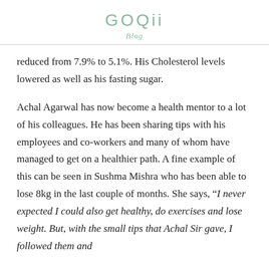GOQii Blog
reduced from 7.9% to 5.1%. His Cholesterol levels lowered as well as his fasting sugar.
Achal Agarwal has now become a health mentor to a lot of his colleagues. He has been sharing tips with his employees and co-workers and many of whom have managed to get on a healthier path. A fine example of this can be seen in Sushma Mishra who has been able to lose 8kg in the last couple of months. She says, “I never expected I could also get healthy, do exercises and lose weight. But, with the small tips that Achal Sir gave, I followed them and